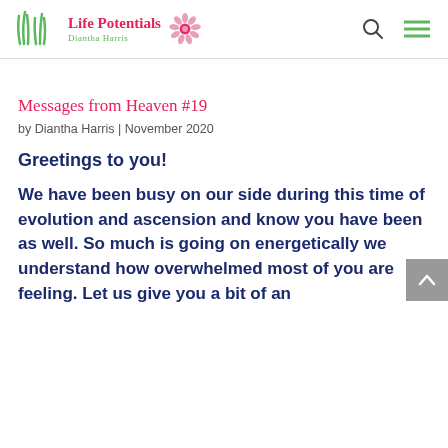Life Potentials — Diantha Harris
Messages from Heaven #19
by Diantha Harris | November 2020
Greetings to you!
We have been busy on our side during this time of evolution and ascension and know you have been as well. So much is going on energetically we understand how overwhelmed most of you are feeling. Let us give you a bit of an